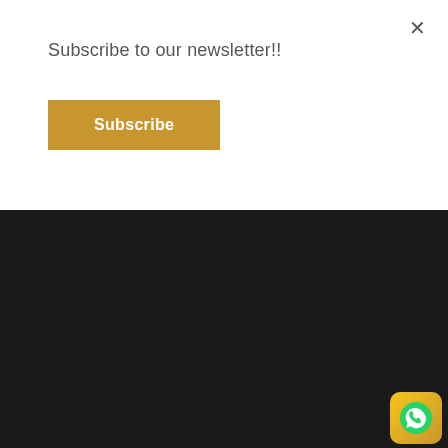Subscribe to our newsletter!!
Subscribe
×
Contact Us
Penny Realtors
Fifty One Tower Office 405 Business Bay
+971 44 23 2012
info@pennyrealtors.com
Subscribe For Newsletter!